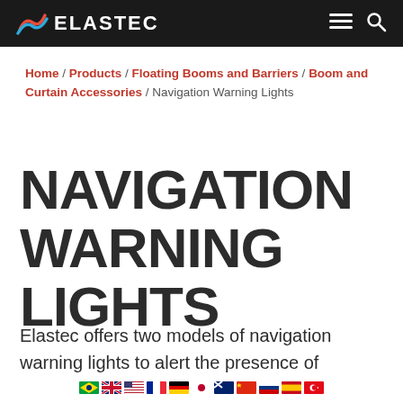ELASTEC
Home / Products / Floating Booms and Barriers / Boom and Curtain Accessories / Navigation Warning Lights
NAVIGATION WARNING LIGHTS
Elastec offers two models of navigation warning lights to alert the presence of